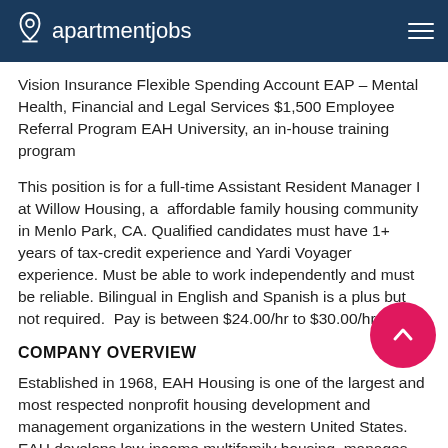apartmentjobs
Vision Insurance Flexible Spending Account EAP – Mental Health, Financial and Legal Services $1,500 Employee Referral Program EAH University, an in-house training program
This position is for a full-time Assistant Resident Manager I at Willow Housing, a  affordable family housing community in Menlo Park, CA. Qualified candidates must have 1+ years of tax-credit experience and Yardi Voyager experience. Must be able to work independently and must be reliable. Bilingual in English and Spanish is a plus but not required.  Pay is between $24.00/hr to $30.00/hr DOE
COMPANY OVERVIEW
Established in 1968, EAH Housing is one of the largest and most respected nonprofit housing development and management organizations in the western United States. EAH develops low-income multifamily housing, manages more than 222 properties throughout in California and Hawaii...